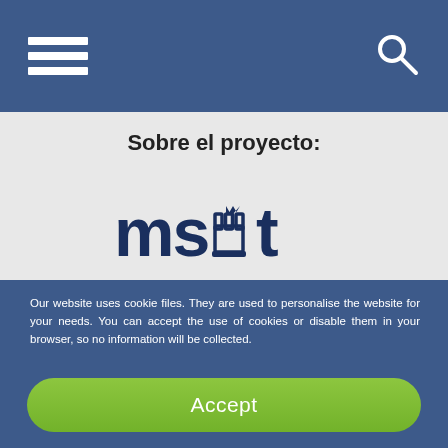[Figure (screenshot): Navigation bar with hamburger menu icon on the left and search icon on the right, dark blue background]
Sobre el proyecto:
[Figure (logo): MSiT logo in dark blue text with a chess rook/crown icon between MS and T]
Our website uses cookie files. They are used to personalise the website for your needs. You can accept the use of cookies or disable them in your browser, so no information will be collected. Learn more about cookies in Privacy Policy
Accept